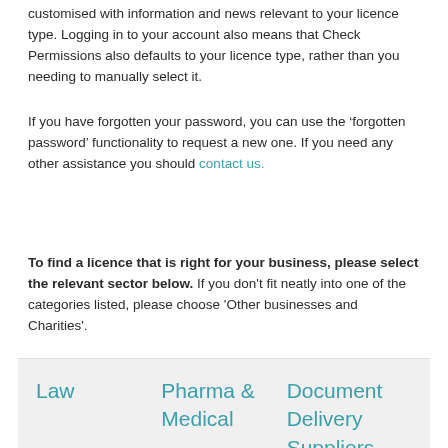customised with information and news relevant to your licence type. Logging in to your account also means that Check Permissions also defaults to your licence type, rather than you needing to manually select it.
If you have forgotten your password, you can use the ‘forgotten password’ functionality to request a new one. If you need any other assistance you should contact us.
To find a licence that is right for your business, please select the relevant sector below. If you don’t fit neatly into one of the categories listed, please choose ‘Other businesses and Charities’.
| Law | Pharma & Medical | Document Delivery Suppliers |